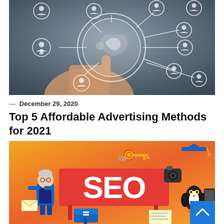[Figure (photo): Hand pointing at a glowing globe with connected person/user icons on lines, digital network concept, dark background]
— December 29, 2020
Top 5 Affordable Advertising Methods for 2021
[Figure (illustration): SEO infographic illustration with orange/red gradient background, large red sign reading SEO in white bold text, cartoon characters including elderly woman, penguin, graduation cap, camera, key, mail box, and blue scroll-to-top button overlay in bottom right]